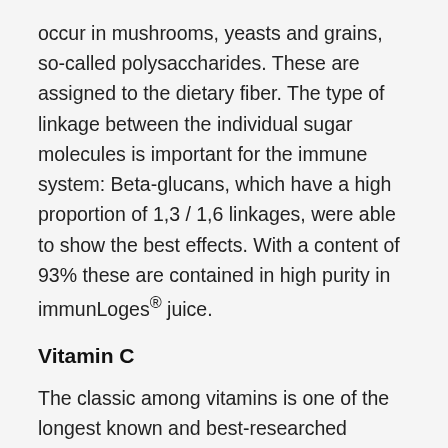occur in mushrooms, yeasts and grains, so-called polysaccharides. These are assigned to the dietary fiber. The type of linkage between the individual sugar molecules is important for the immune system: Beta-glucans, which have a high proportion of 1,3 / 1,6 linkages, were able to show the best effects. With a content of 93% these are contained in high purity in immunLoges® juice.
Vitamin C
The classic among vitamins is one of the longest known and best-researched vitamins. With a wide variety of functions, it is indispensable for